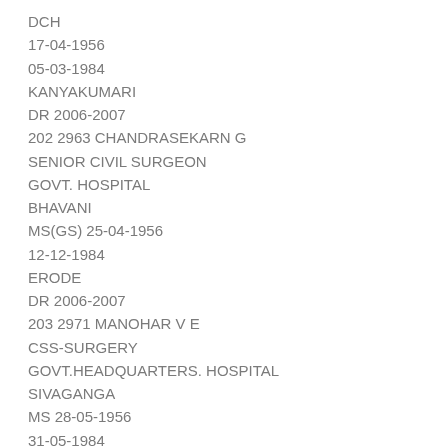DCH
17-04-1956
05-03-1984
KANYAKUMARI
DR 2006-2007
202 2963 CHANDRASEKARN G
SENIOR CIVIL SURGEON
GOVT. HOSPITAL
BHAVANI
MS(GS) 25-04-1956
12-12-1984
ERODE
DR 2006-2007
203 2971 MANOHAR V E
CSS-SURGERY
GOVT.HEADQUARTERS. HOSPITAL
SIVAGANGA
MS 28-05-1956
31-05-1984
SIVAGANGA
DR 2006-2007
204 2974 SUBRAMANI C